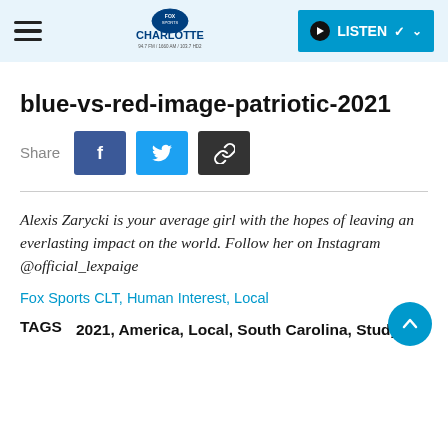Fox Sports Charlotte — LISTEN
blue-vs-red-image-patriotic-2021
Share
Alexis Zarycki is your average girl with the hopes of leaving an everlasting impact on the world. Follow her on Instagram @official_lexpaige
Fox Sports CLT, Human Interest, Local
TAGS  2021, America, Local, South Carolina, Study